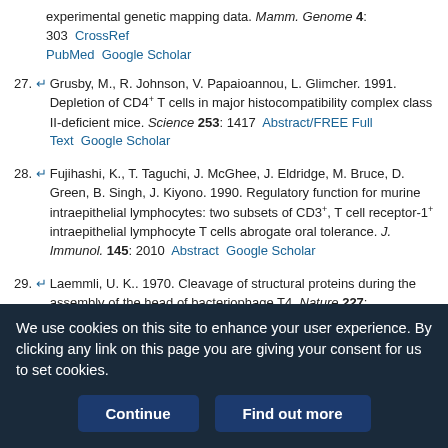experimental genetic mapping data. Mamm. Genome 4: 303  CrossRef  PubMed  Google Scholar
27. Grusby, M., R. Johnson, V. Papaioannou, L. Glimcher. 1991. Depletion of CD4+ T cells in major histocompatibility complex class II-deficient mice. Science 253: 1417  Abstract/FREE Full Text  Google Scholar
28. Fujihashi, K., T. Taguchi, J. McGhee, J. Eldridge, M. Bruce, D. Green, B. Singh, J. Kiyono. 1990. Regulatory function for murine intraepithelial lymphocytes: two subsets of CD3+, T cell receptor-1+ intraepithelial lymphocyte T cells abrogate oral tolerance. J. Immunol. 145: 2010  Abstract  Google Scholar
29. Laemmli, U. K.. 1970. Cleavage of structural proteins during the assembly of the head of bacteriophage T4. Nature 227: 680  CrossRef  PubMed  Google Scholar
We use cookies on this site to enhance your user experience. By clicking any link on this page you are giving your consent for us to set cookies.